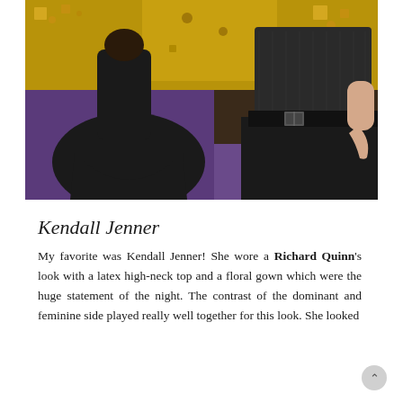[Figure (photo): Two women wearing black outfits at what appears to be a red carpet event. The left figure wears a full-length black gown on a purple carpet with gold decorations in the background. The right figure wears a black dress with a sheer top and a wide black belt with a rectangular buckle.]
Kendall Jenner
My favorite was Kendall Jenner! She wore a Richard Quinn's look with a latex high-neck top and a floral gown which were the huge statement of the night. The contrast of the dominant and feminine side played really well together for this look. She looked